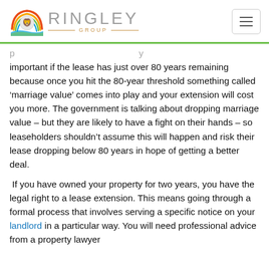Ringley Group
important if the lease has just over 80 years remaining because once you hit the 80-year threshold something called ‘marriage value’ comes into play and your extension will cost you more. The government is talking about dropping marriage value – but they are likely to have a fight on their hands – so leaseholders shouldn’t assume this will happen and risk their lease dropping below 80 years in hope of getting a better deal.
If you have owned your property for two years, you have the legal right to a lease extension. This means going through a formal process that involves serving a specific notice on your landlord in a particular way. You will need professional advice from a property lawyer